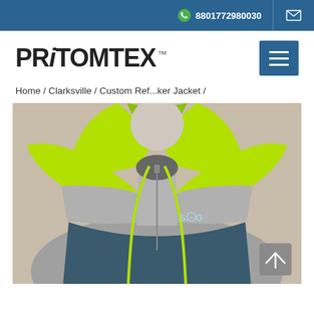8801772980030
[Figure (logo): PRiTOMTEX trademark logo in large bold sans-serif font with TM superscript]
Home / Clarksville / Custom Ref...ker Jacket /
[Figure (photo): Product photo of a custom reflective windbreaker jacket with neon yellow/green hood and shoulders, grey reflective body, dark navy lower section, drawstring in neon green, and SOG logo on chest, worn on a mannequin]